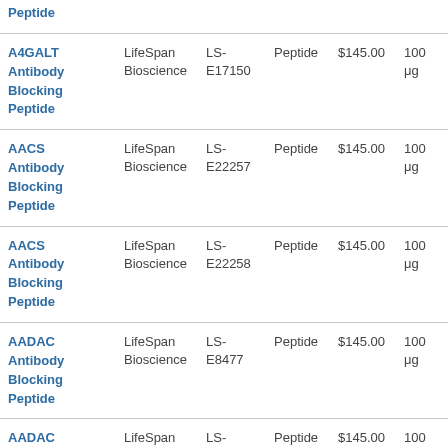| Product | Supplier | Catalog # | Type | Price | Size |
| --- | --- | --- | --- | --- | --- |
| A4GALT Antibody Blocking Peptide | LifeSpan Bioscience | LS-E17150 | Peptide | $145.00 | 100 μg |
| AACS Antibody Blocking Peptide | LifeSpan Bioscience | LS-E22257 | Peptide | $145.00 | 100 μg |
| AACS Antibody Blocking Peptide | LifeSpan Bioscience | LS-E22258 | Peptide | $145.00 | 100 μg |
| AADAC Antibody Blocking Peptide | LifeSpan Bioscience | LS-E8477 | Peptide | $145.00 | 100 μg |
| AADAC Antibody Blocking Peptide | LifeSpan Bioscience | LS-E16525 | Peptide | $145.00 | 100 μg |